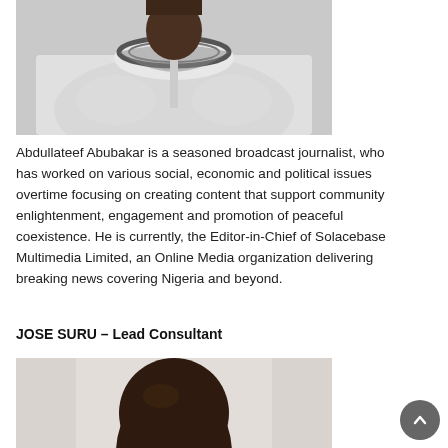[Figure (photo): Partial photo of Abdullateef Abubakar showing torso and neck, wearing a grey traditional Nigerian outfit with embroidered neckline]
Abdullateef Abubakar is a seasoned broadcast journalist, who has worked on various social, economic and political issues overtime focusing on creating content that support community enlightenment, engagement and promotion of peaceful coexistence. He is currently, the Editor-in-Chief of Solacebase Multimedia Limited, an Online Media organization delivering breaking news covering Nigeria and beyond.
JOSE SURU – Lead Consultant
[Figure (photo): Partial photo of Jose Suru showing head and upper shoulders, dark complexion, against a light background]